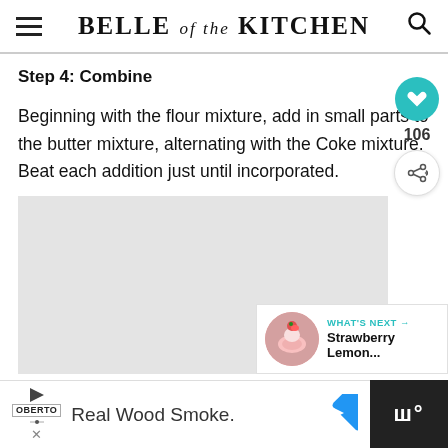BELLE of the KITCHEN
Step 4: Combine
Beginning with the flour mixture, add in small parts to the butter mixture, alternating with the Coke mixture. Beat each addition just until incorporated.
[Figure (other): Gray placeholder image area for recipe step photo]
[Figure (other): WHAT'S NEXT panel showing a strawberry cupcake thumbnail with text 'Strawberry Lemon...']
[Figure (other): Advertisement bar: Oberto logo, 'Real Wood Smoke.' text, navigation arrow, and dark section on right]